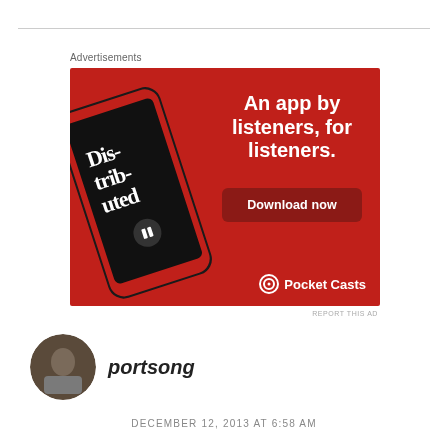Advertisements
[Figure (screenshot): Pocket Casts advertisement banner on red background showing a smartphone with 'Dis-trib-uted' podcast playing. Text: 'An app by listeners, for listeners.' with a 'Download now' button and Pocket Casts logo.]
REPORT THIS AD
portsong
DECEMBER 12, 2013 AT 6:58 AM